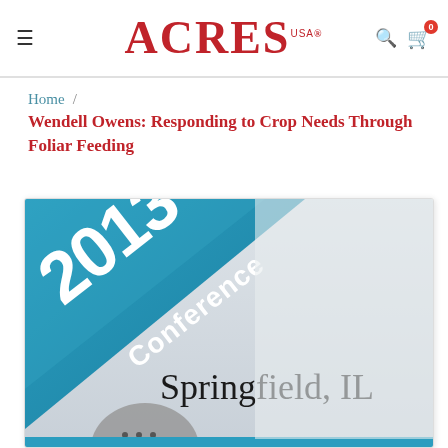ACRES USA — Navigation header with hamburger menu, logo, search and cart icons
Home / Wendell Owens: Responding to Crop Needs Through Foliar Feeding
[Figure (photo): 2013 Conference Springfield, IL product cover image with teal diagonal banner and microphone graphic]